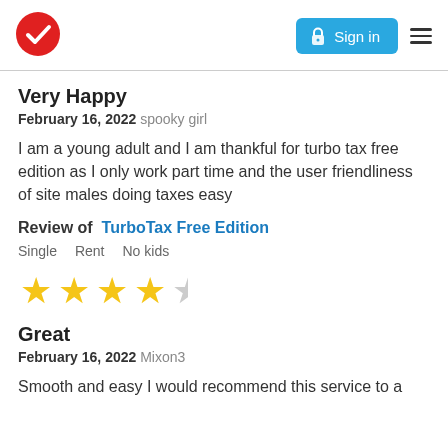TurboTax logo | Sign in | Menu
Very Happy
February 16, 2022 spooky girl
I am a young adult and I am thankful for turbo tax free edition as I only work part time and the user friendliness of site males doing taxes easy
Review of   TurboTax Free Edition
Single   Rent   No kids
[Figure (other): 4 out of 5 stars rating]
Great
February 16, 2022 Mixon3
Smooth and easy I would recommend this service to a